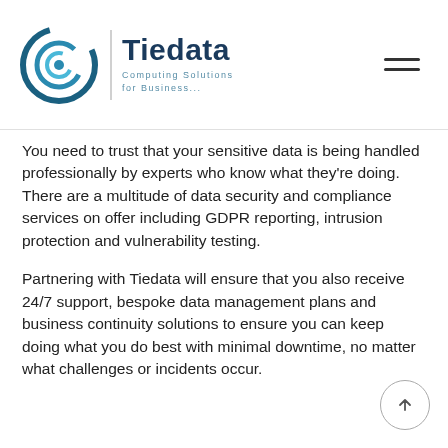Tiedata Computing Solutions for Business...
You need to trust that your sensitive data is being handled professionally by experts who know what they're doing. There are a multitude of data security and compliance services on offer including GDPR reporting, intrusion protection and vulnerability testing.
Partnering with Tiedata will ensure that you also receive 24/7 support, bespoke data management plans and business continuity solutions to ensure you can keep doing what you do best with minimal downtime, no matter what challenges or incidents occur.